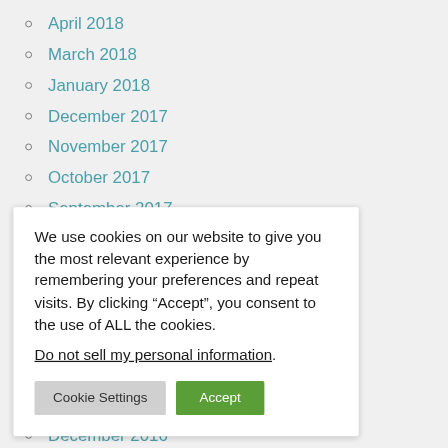April 2018
March 2018
January 2018
December 2017
November 2017
October 2017
September 2017
We use cookies on our website to give you the most relevant experience by remembering your preferences and repeat visits. By clicking “Accept”, you consent to the use of ALL the cookies.
Do not sell my personal information.
December 2016